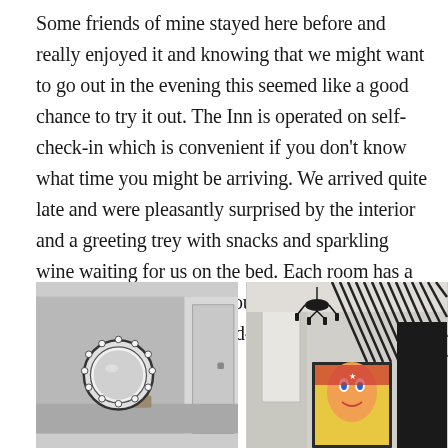Some friends of mine stayed here before and really enjoyed it and knowing that we might want to go out in the evening this seemed like a good chance to try it out. The Inn is operated on self-check-in which is convenient if you don't know what time you might be arriving. We arrived quite late and were pleasantly surprised by the interior and a greeting trey with snacks and sparkling wine waiting for us on the bed. Each room has a uniquely different decor, ours (Room R) is inspired by the Hollywood-style rock n' roll.
[Figure (photo): Interior photo of a hotel room showing a round Hollywood-style vanity mirror with light bulbs around the edge mounted on a grey wall, with a door visible to the right and some decor on a surface below.]
[Figure (photo): Interior photo of a hotel room showing a black chandelier hanging from the ceiling, black vertical rod/rail wall art installation, dark curtains, and a colorful rock-themed portrait artwork on the wall.]